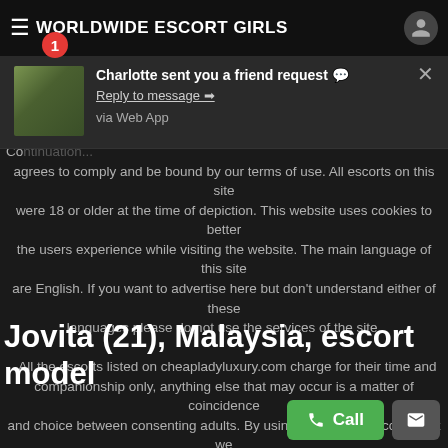WORLDWIDE ESCORT GIRLS
[Figure (screenshot): Notification popup: Charlotte sent you a friend request. Reply to message → via Web App]
Co ... agrees to comply and be bound by our terms of use. All escorts on this site were 18 or older at the time of depiction. This website uses cookies to better the users experience while visiting the website. The main language of this site are English. If you want to advertise here but don't understand either of these languages please do not use the services of the site.

All the escorts listed on cheapladyluxury.com charge for their time and companionship only, anything else that may occur is a matter of coincidence and choice between consenting adults. By using this site you accept that we (The Site) do not support or advertise business based sexual activities in any forms therefore you (The Advertiser) hereby declare that you offer your time and companionship only in your advertisement(s). You also accept that we do not support any forms of sexual activited based business partnerships therefore every advertiser on this site must be an independent individual.
Jovita (21), Malaysia, escort model